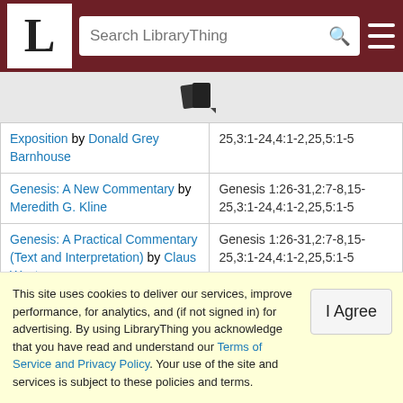LibraryThing - Search LibraryThing
| Book | Passages |
| --- | --- |
| Exposition by Donald Grey Barnhouse | 25,3:1-24,4:1-2,25,5:1-5 |
| Genesis: A New Commentary by Meredith G. Kline | Genesis 1:26-31,2:7-8,15-25,3:1-24,4:1-2,25,5:1-5 |
| Genesis: A Practical Commentary (Text and Interpretation) by Claus Westermann | Genesis 1:26-31,2:7-8,15-25,3:1-24,4:1-2,25,5:1-5 |
| Genesis: A Study Guide | Genesis 1:26-31,2:7-8,15-... |
This site uses cookies to deliver our services, improve performance, for analytics, and (if not signed in) for advertising. By using LibraryThing you acknowledge that you have read and understand our Terms of Service and Privacy Policy. Your use of the site and services is subject to these policies and terms.